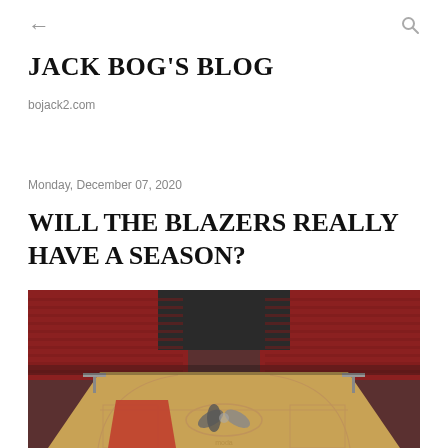← (back) Q (search)
JACK BOG'S BLOG
bojack2.com
Monday, December 07, 2020
WILL THE BLAZERS REALLY HAVE A SEASON?
[Figure (photo): Interior of the Moda Center arena showing the Portland Trail Blazers basketball court with hardwood floor, the Trail Blazers logo at center court, red painted areas near the basket, and rows of empty red and black seats in the stands.]